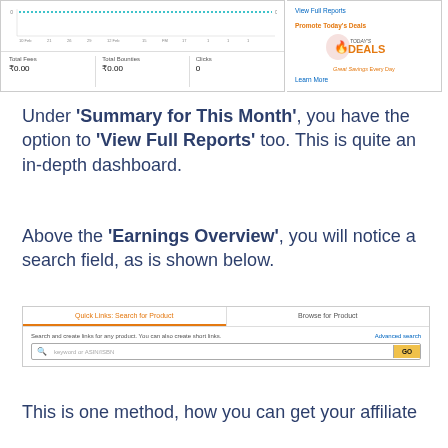[Figure (screenshot): Amazon Associates dashboard showing a line chart at the top, stats row with Total Fees ₹0.00, Total Bounties ₹0.00, Clicks 0, and a right panel with View Full Reports link and Promote Today's Deals section with Today's Deals logo and Learn More link.]
Under 'Summary for This Month', you have the option to 'View Full Reports' too. This is quite an in-depth dashboard.
Above the 'Earnings Overview', you will notice a search field, as is shown below.
[Figure (screenshot): Quick Links: Search for Product tab (active, orange) and Browse for Product tab. Below: 'Search and create links for any product. You can also create short links.' with Advanced search link and a search input field with placeholder 'keyword or ASIN/ISBN' and a Go button.]
This is one method, how you can get your affiliate